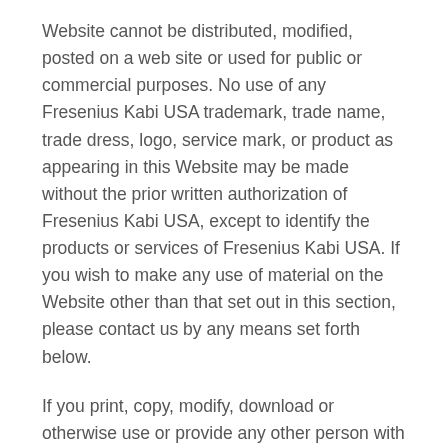Website cannot be distributed, modified, posted on a web site or used for public or commercial purposes. No use of any Fresenius Kabi USA trademark, trade name, trade dress, logo, service mark, or product as appearing in this Website may be made without the prior written authorization of Fresenius Kabi USA, except to identify the products or services of Fresenius Kabi USA. If you wish to make any use of material on the Website other than that set out in this section, please contact us by any means set forth below.
If you print, copy, modify, download or otherwise use or provide any other person with access to any part of the Website in breach of the Terms of Use, your right to use the Website will cease immediately and you must, at our option, return or destroy any copies of the materials you have made. No right, title or interest in or to the Website or any content on the Website is transferred to you, and all rights not expressly granted are reserved by Fresenius Kabi USA. Any use of the